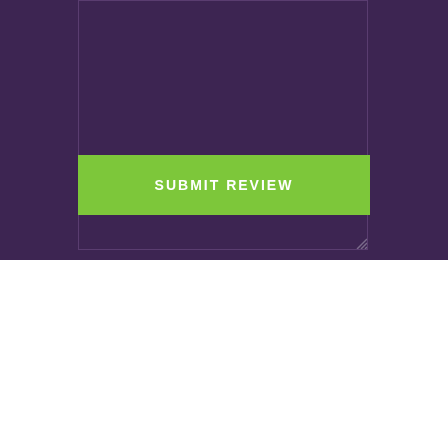[Figure (screenshot): Text area input box with dark purple background and resize handle at bottom right]
[Figure (screenshot): Green Submit Review button]
[Figure (illustration): Dark purple square icon with white chat/Q&A symbol]
Product Question and Answer
We have provided this Product Q&A tool as a service to PTAC 4 Less customers. PTAC4Less.com